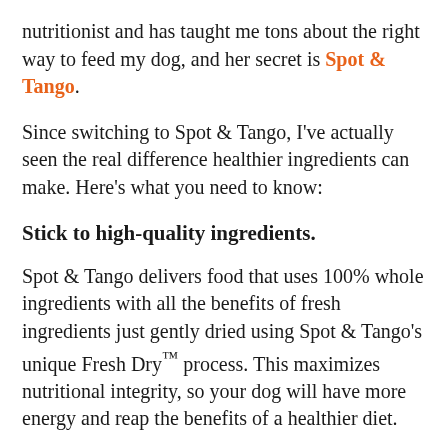nutritionist and has taught me tons about the right way to feed my dog, and her secret is Spot & Tango.
Since switching to Spot & Tango, I've actually seen the real difference healthier ingredients can make. Here's what you need to know:
Stick to high-quality ingredients.
Spot & Tango delivers food that uses 100% whole ingredients with all the benefits of fresh ingredients just gently dried using Spot & Tango's unique Fresh Dry™ process. This maximizes nutritional integrity, so your dog will have more energy and reap the benefits of a healthier diet.